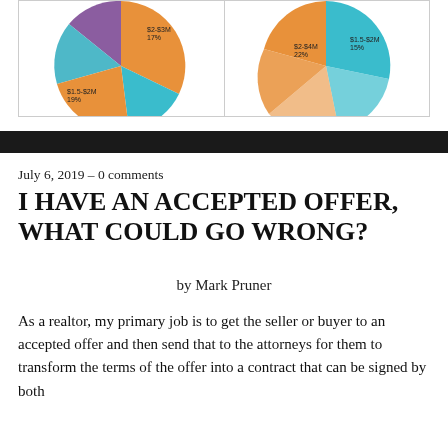[Figure (pie-chart): Two partial pie charts showing data with segments in orange, teal, purple, and blue. Left chart has labels: $2-$3M 17%, $1.5-$2M 19%. Right chart has labels: $2-$4M 22%, $1.5-$2M 15%.]
July 6, 2019 – 0 comments
I HAVE AN ACCEPTED OFFER, WHAT COULD GO WRONG?
by Mark Pruner
As a realtor, my primary job is to get the seller or buyer to an accepted offer and then send that to the attorneys for them to transform the terms of the offer into a contract that can be signed by both